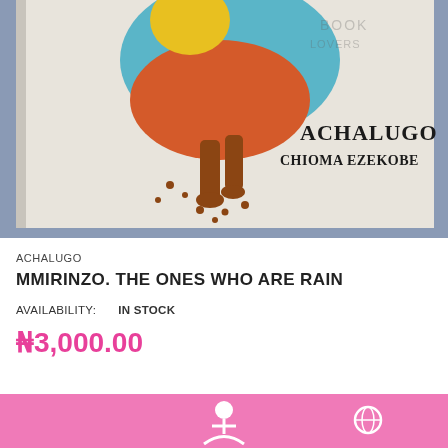[Figure (photo): Book cover of 'Achalugo' by Chioma Ezekobe showing an illustrated figure in colorful dress with text 'ACHALUGO CHIOMA EZEKOBE' on the cover, displayed against a blue-grey background]
ACHALUGO
MMIRINZO. THE ONES WHO ARE RAIN
AVAILABILITY:    IN STOCK
₦3,000.00
[Figure (infographic): Pink bottom bar with white person icon and white globe icon]